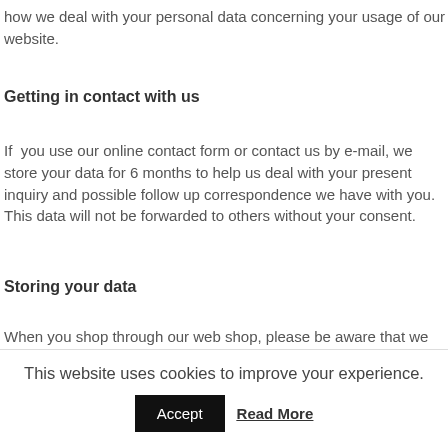how we deal with your personal data concerning your usage of our website.
Getting in contact with us
If you use our online contact form or contact us by e-mail, we store your data for 6 months to help us deal with your present inquiry and possible follow up correspondence we have with you. This data will not be forwarded to others without your consent.
Storing your data
When you shop through our web shop, please be aware that we may store personal data such as your IP data (through the use of cookies), your name, your address, your credit card details, or your phone number
This website uses cookies to improve your experience.
Accept   Read More